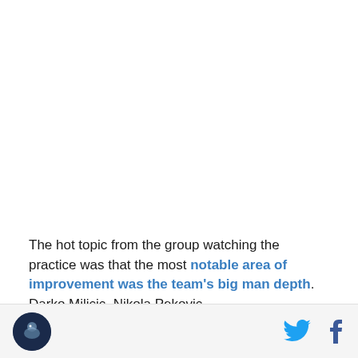[Figure (photo): Large white/blank image area at top of page, appears to be a photo placeholder or cropped image]
The hot topic from the group watching the practice was that the most notable area of improvement was the team's big man depth. Darko Milicic, Nikola Pekovic,
[Figure (logo): Circular logo with dark navy background showing a bird silhouette, sports team logo]
[Figure (other): Twitter bird icon in blue and Facebook 'f' icon in dark blue, social media share buttons]